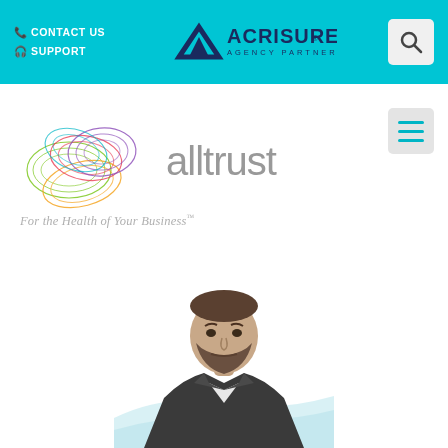CONTACT US | SUPPORT | ACRISURE AGENCY PARTNER
[Figure (logo): Alltrust logo with colorful fingerprint-style overlapping cloud shapes and the text 'alltrust' and tagline 'For the Health of Your Business']
[Figure (photo): Black and white headshot photo of a bearded man in a suit jacket, cropped at the waist, positioned at the bottom center of the page]